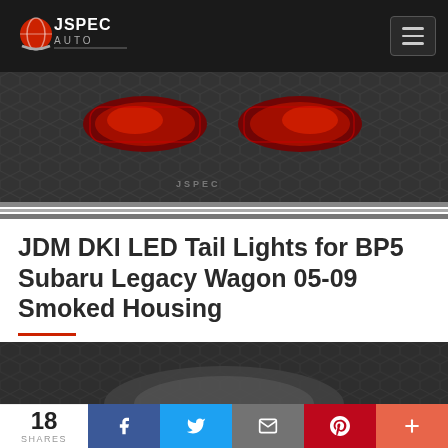JSPEC AUTO
[Figure (photo): JDM DKI LED tail lights product photo showing two red tail light assemblies on a dark honeycomb background]
JDM DKI LED Tail Lights for BP5 Subaru Legacy Wagon 05-09 Smoked Housing
[Figure (photo): Second product photo showing partial view of the tail light assembly on dark background]
18 SHARES